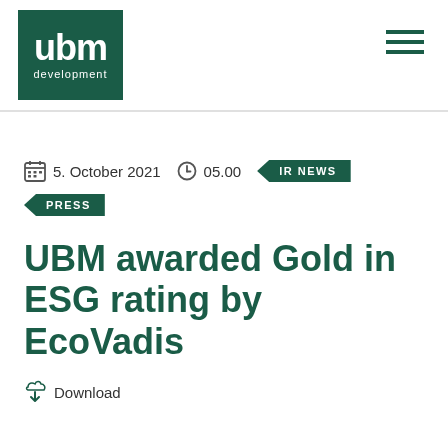[Figure (logo): UBM Development logo — dark green square with white 'ubm' text and 'development' below]
5. October 2021   05.00   IR NEWS   PRESS
UBM awarded Gold in ESG rating by EcoVadis
Download